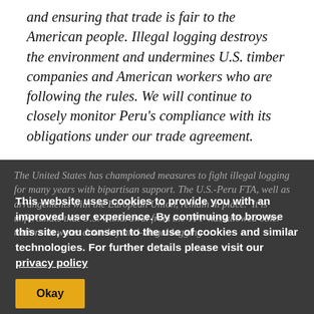and ensuring that trade is fair to the American people. Illegal logging destroys the environment and undermines U.S. timber companies and American workers who are following the rules. We will continue to closely monitor Peru's compliance with its obligations under our trade agreement.
The United States has championed measures to fight illegal logging for many years with bipartisan support. The U.S.-Peru FTA, well as arrangements with the European Union, remain in place. It is unfortunate that U.S. withdrawal from the TPP has allowed other nations to water down key anti-illegal logging
This website uses cookies to provide you with an improved user experience. By continuing to browse this site, you consent to the use of cookies and similar technologies. For further details please visit our privacy policy
Okay